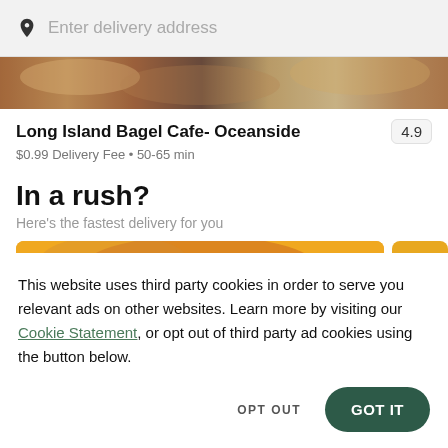[Figure (screenshot): Search bar with pin icon and 'Enter delivery address' placeholder text on gray background]
[Figure (photo): Food photography showing bagels and sandwiches, warm tones]
Long Island Bagel Cafe- Oceanside
$0.99 Delivery Fee • 50-65 min
In a rush?
Here's the fastest delivery for you
[Figure (screenshot): Food item cards with orange/yellow background, partially visible]
This website uses third party cookies in order to serve you relevant ads on other websites. Learn more by visiting our Cookie Statement, or opt out of third party ad cookies using the button below.
OPT OUT
GOT IT